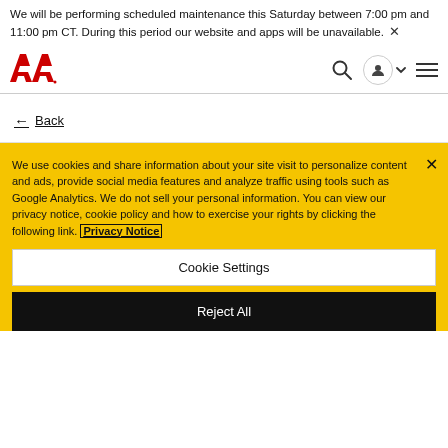We will be performing scheduled maintenance this Saturday between 7:00 pm and 11:00 pm CT. During this period our website and apps will be unavailable. ×
[Figure (logo): AA (American Airlines or similar) red logo with two stylized letter A shapes]
← Back
We use cookies and share information about your site visit to personalize content and ads, provide social media features and analyze traffic using tools such as Google Analytics. We do not sell your personal information. You can view our privacy notice, cookie policy and how to exercise your rights by clicking the following link. Privacy Notice
Cookie Settings
Reject All